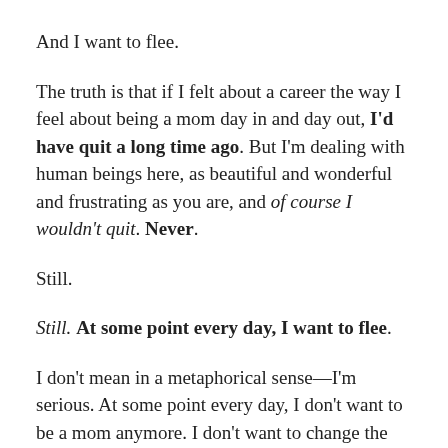And I want to flee.
The truth is that if I felt about a career the way I feel about being a mom day in and day out, I'd have quit a long time ago. But I'm dealing with human beings here, as beautiful and wonderful and frustrating as you are, and of course I wouldn't quit. Never.
Still.
Still. At some point every day, I want to flee.
I don't mean in a metaphorical sense—I'm serious. At some point every day, I don't want to be a mom anymore. I don't want to change the seventeenth